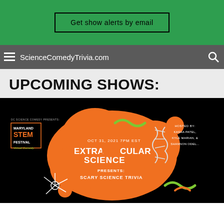Get show alerts by email
ScienceComedyTrivia.com
UPCOMING SHOWS:
[Figure (photo): Event poster for ExtraRidicCular Science – Maryland STEM Festival Virtual Comedy. OCT 31, 2021 7PM EST. EXTRARIDICCULLAR SCIENCE PRESENTS: SCARY SCIENCE TRIVIA. Hosted by: Kasha Patel, Kyle Marian, & Shannon Odell. Black background with orange blob shapes, DNA helix, neuron illustration, and colorful squiggle decorations.]